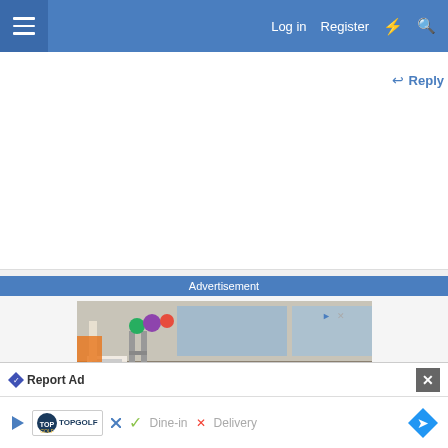☰   Log in   Register   ⚡   🔍
Reply
Advertisement
[Figure (photo): Physical therapy / rehabilitation gym with parallel bars, exercise equipment, colorful medicine balls, and chairs]
Oncology Dietitian
Oncology Rehab and Wellness Res...
Report Ad
[Figure (infographic): Bottom ad banner: TopGolf ad with Dine-in checkmark and Delivery X mark, and a navigation arrow icon]